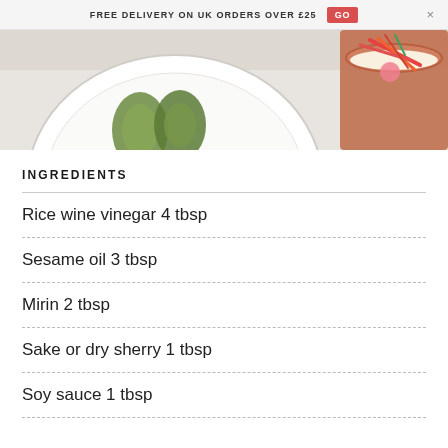FREE DELIVERY ON UK ORDERS OVER £25  GO  ×
[Figure (photo): Top-down photo of a white plate with avocado slices and a small bowl of pickled vegetables with carrot and radish strips]
INGREDIENTS
Rice wine vinegar 4 tbsp
Sesame oil 3 tbsp
Mirin 2 tbsp
Sake or dry sherry 1 tbsp
Soy sauce 1 tbsp